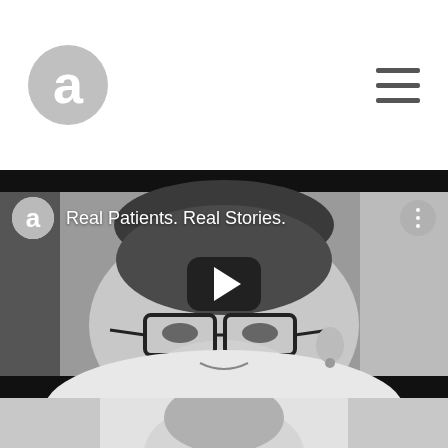[Figure (logo): Circular logo with letter 'a' in white on gray background, top left of header]
[Figure (screenshot): Hamburger menu icon (three horizontal lines) in top right of header]
[Figure (screenshot): Video player showing a black and white photo of an older woman with glasses, with YouTube-style overlay: circular 'a' logo and title 'Real Patients. Real Stories.' at top, play button in center, dots menu top right]
[Figure (photo): Partial view of another black and white photo at the bottom of the page, showing a person's head/shoulder area]